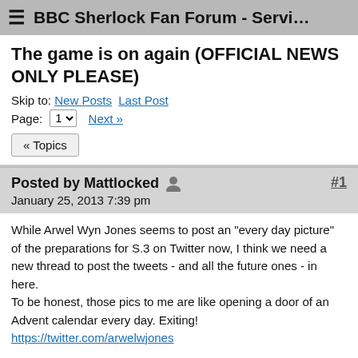BBC Sherlock Fan Forum - Servi…
The game is on again (OFFICIAL NEWS ONLY PLEASE)
Skip to: New Posts  Last Post
Page: 1 ▾  Next »
« Topics
Posted by Mattlocked  #1
January 25, 2013 7:39 pm
While Arwel Wyn Jones seems to post an "every day picture" of the preparations for S.3 on Twitter now, I think we need a new thread to post the tweets - and all the future ones - in here.
To be honest, those pics to me are like opening a door of an Advent calendar every day. Exiting!
https://twitter.com/arwelwjones

Where do I have to start?

I think this was the first:

S3 - And so it begins again!? 21.Jan.
[Figure (photo): Dark/partially visible image at the bottom of the page]